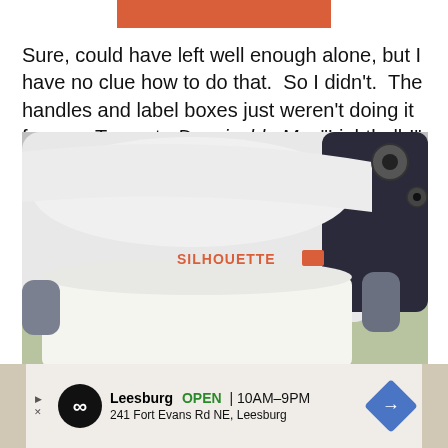[Figure (other): Red/coral colored banner strip at top of page]
Sure, could have left well enough alone, but I have no clue how to do that.  So I didn't.  The handles and label boxes just weren't doing it for me.  To quote Despicable Me, "Lightbulb!"
[Figure (photo): Close-up photo of a white Silhouette SD cutting machine with paper loaded, showing the orange 'SILHOUETTE SD' branding on the machine body]
[Figure (other): Advertisement banner for Leesburg store showing OPEN 10AM-9PM at 241 Fort Evans Rd NE, Leesburg with infinity logo and navigation arrow]